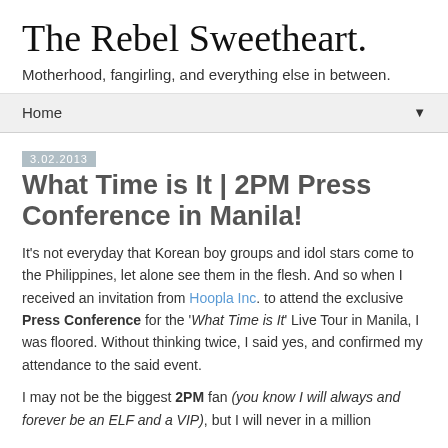The Rebel Sweetheart.
Motherhood, fangirling, and everything else in between.
Home ▼
3.02.2013
What Time is It | 2PM Press Conference in Manila!
It's not everyday that Korean boy groups and idol stars come to the Philippines, let alone see them in the flesh. And so when I received an invitation from Hoopla Inc. to attend the exclusive Press Conference for the 'What Time is It' Live Tour in Manila, I was floored. Without thinking twice, I said yes, and confirmed my attendance to the said event.
I may not be the biggest 2PM fan (you know I will always and forever be an ELF and a VIP), but I will never in a million